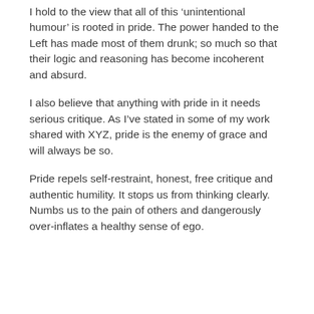I hold to the view that all of this ‘unintentional humour’ is rooted in pride. The power handed to the Left has made most of them drunk; so much so that their logic and reasoning has become incoherent and absurd.
I also believe that anything with pride in it needs serious critique. As I’ve stated in some of my work shared with XYZ, pride is the enemy of grace and will always be so.
Pride repels self-restraint, honest, free critique and authentic humility. It stops us from thinking clearly. Numbs us to the pain of others and dangerously over-inflates a healthy sense of ego.